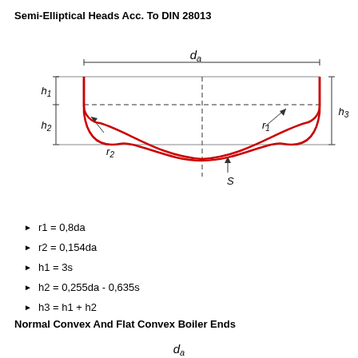Semi-Elliptical Heads Acc. To DIN 28013
[Figure (engineering-diagram): Technical drawing of a semi-elliptical head showing dimensions da, h1, h2, h3, r1, r2, and S. The head profile is shown with a red curve indicating the elliptical shape. Dimension lines and labels are shown in black with dashed centerlines.]
r1 = 0,8da
r2 = 0,154da
h1 = 3s
h2 = 0,255da - 0,635s
h3 = h1 + h2
Normal Convex And Flat Convex Boiler Ends
[Figure (engineering-diagram): Partial technical drawing of a Normal Convex and Flat Convex Boiler End showing dimension da at the top, cut off at the bottom of the page.]